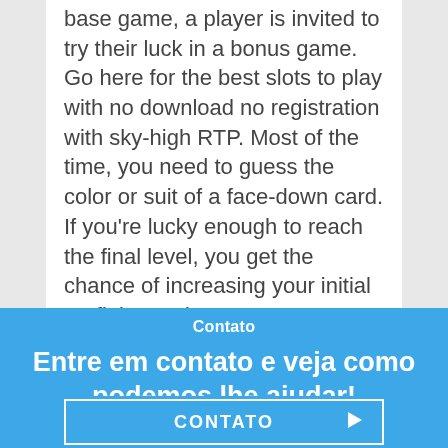base game, a player is invited to try their luck in a bonus game. Go here for the best slots to play with no download no registration with sky-high RTP. Most of the time, you need to guess the color or suit of a face-down card. If you're lucky enough to reach the final level, you get the chance of increasing your initial profit by 32 times!
Contato
Entre em contato e veja como podemos lhe ajudar!
CONTATO